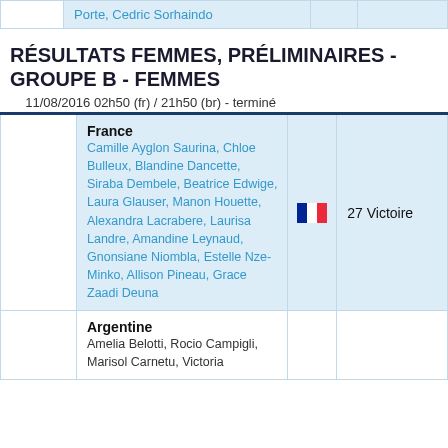|  | Team/Players | Flag | Result |
| --- | --- | --- | --- |
|  | Porte, Cedric Sorhaindo |  |  |
RÉSULTATS FEMMES, PRÉLIMINAIRES - GROUPE B - FEMMES
11/08/2016 02h50 (fr) / 21h50 (br) - terminé
|  | Team/Players | Flag | Result |
| --- | --- | --- | --- |
|  | France
Camille Ayglon Saurina, Chloe Bulleux, Blandine Dancette, Siraba Dembele, Beatrice Edwige, Laura Glauser, Manon Houette, Alexandra Lacrabere, Laurisa Landre, Amandine Leynaud, Gnonsiane Niombla, Estelle Nze-Minko, Allison Pineau, Grace Zaadi Deuna | 🇫🇷 | 27 Victoire |
|  | Argentine
Amelia Belotti, Rocio Campigli, Marisol Carnetu, Victoria... |  |  |